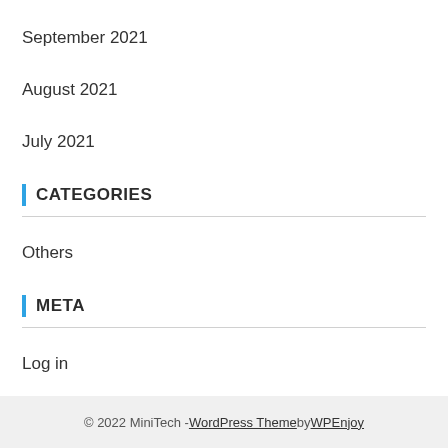September 2021
August 2021
July 2021
CATEGORIES
Others
META
Log in
Entries feed
Comments feed
WordPress.org
© 2022 MiniTech - WordPress Theme by WPEnjoy